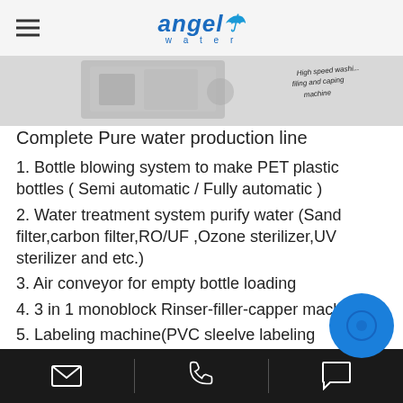Angel Water - logo header with hamburger menu
[Figure (photo): Partial image of a high speed washing, filling and capping machine with text overlay]
Complete Pure water production line
1. Bottle blowing system to make PET plastic bottles ( Semi automatic / Fully automatic )
2. Water treatment system purify water (Sand filter,carbon filter,RO/UF ,Ozone sterilizer,UV sterilizer and etc.)
3. Air conveyor for empty bottle loading
4. 3 in 1 monoblock Rinser-filler-capper machine
5. Labeling machine(PVC sleelve labeling machine/OPP hot melt glue labeling machine/Self adheisive labeling machine )
Email | Phone | Chat contact icons